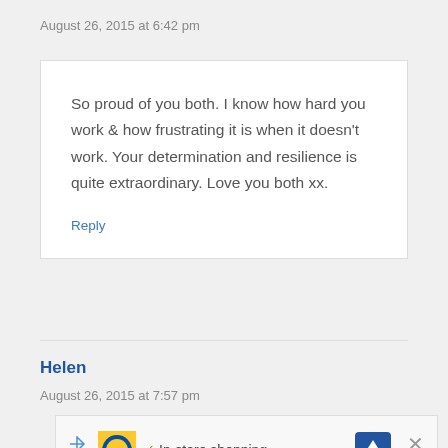August 26, 2015 at 6:42 pm
So proud of you both. I know how hard you work & how frustrating it is when it doesn't work. Your determination and resilience is quite extraordinary. Love you both xx.
Reply
Helen
August 26, 2015 at 7:57 pm
[Figure (other): Advertisement banner showing Lidl logo with text 'In-store shopping', a navigation icon, and a close button]